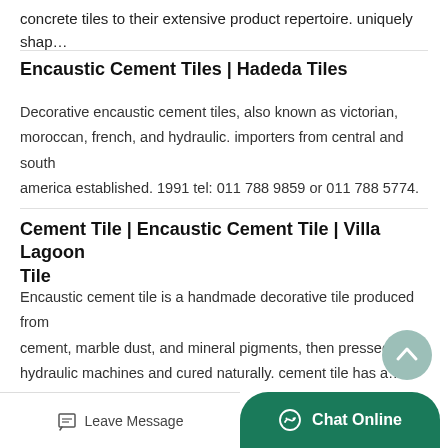concrete tiles to their extensive product repertoire. uniquely shap…
Encaustic Cement Tiles | Hadeda Tiles
Decorative encaustic cement tiles, also known as victorian, moroccan, french, and hydraulic. importers from central and south america established. 1991 tel: 011 788 9859 or 011 788 5774.
Cement Tile | Encaustic Cement Tile | Villa Lagoon Tile
Encaustic cement tile is a handmade decorative tile produced from cement, marble dust, and mineral pigments, then pressed by hydraulic machines and cured naturally. cement tile has a…
Decorative Cement Tile…